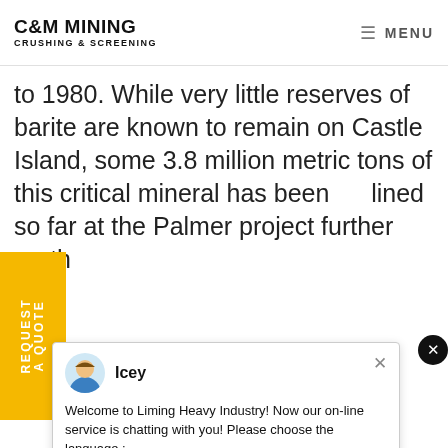C&M MINING CRUSHING & SCREENING | MENU
to 1980. While very little reserves of barite are known to remain on Castle Island, some 3.8 million metric tons of this critical mineral has been [out]lined so far at the Palmer project further north
[Figure (screenshot): Yellow vertical sidebar tab with text 'REQUEST A QUOTE' rotated vertically]
[Figure (screenshot): Chat popup from Liming Heavy Industry with avatar named 'Icey' and message: Welcome to Liming Heavy Industry! Now our on-line service is chatting with you! Please choose the language :]
[Figure (photo): Customer service agent photo on right side with headset, smiling woman]
[Figure (infographic): Circular notification badge with number 1 in cyan blue]
[Figure (infographic): Dark navy banner with text 'Have any requests, click here.' and yellow Quotation button]
MUCH IS A SLIME DRYER IN NICARAGUA
ITE PROCESSING EQUIPMENT FOR ORE
MINING METHODS IN NIGERIA COAL INDUSTRY IN NIC
SCM ULTRAFINE MILL SUPER THIN GRINDING MACHIN